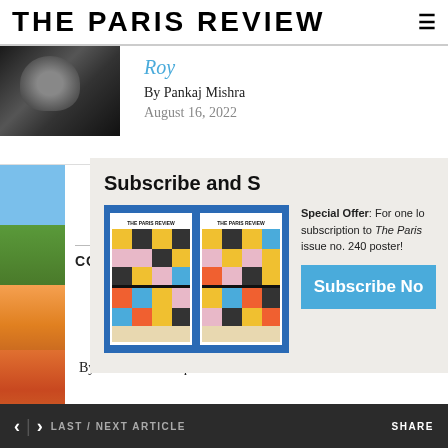THE PARIS REVIEW
Roy
By Pankaj Mishra
August 16, 2022
[Figure (photo): Black and white photo of a woman]
[Figure (photo): Partial nature/building photo with blue sky and trees]
COLU
[Figure (photo): Partial orange/warm-toned photo]
By Hanif Abdurraqib
[Figure (illustration): Subscribe modal with two Paris Review magazine covers on blue background]
Subscribe and S
Special Offer: For one lo subscription to The Paris issue no. 240 poster!
Subscribe No
< > LAST / NEXT ARTICLE    SHARE